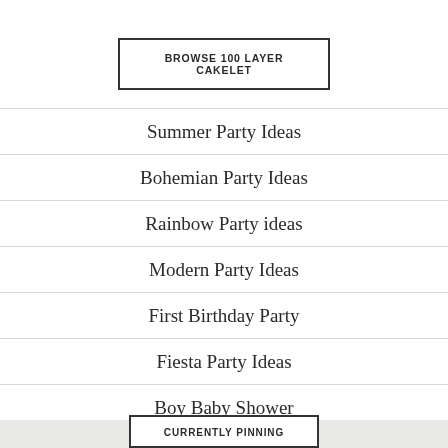BROWSE 100 LAYER CAKELET
Summer Party Ideas
Bohemian Party Ideas
Rainbow Party ideas
Modern Party Ideas
First Birthday Party
Fiesta Party Ideas
Boy Baby Shower
Girl Baby Shower
CURRENTLY PINNING